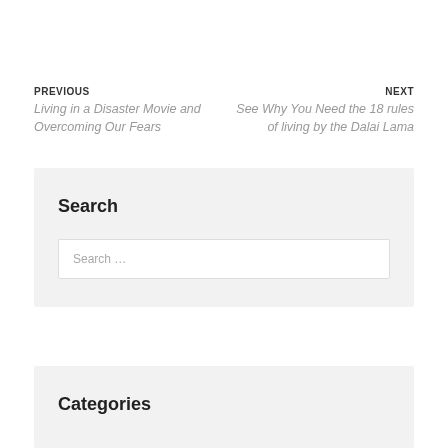PREVIOUS Living in a Disaster Movie and Overcoming Our Fears
NEXT See Why You Need the 18 rules of living by the Dalai Lama
Search
Search …
Categories